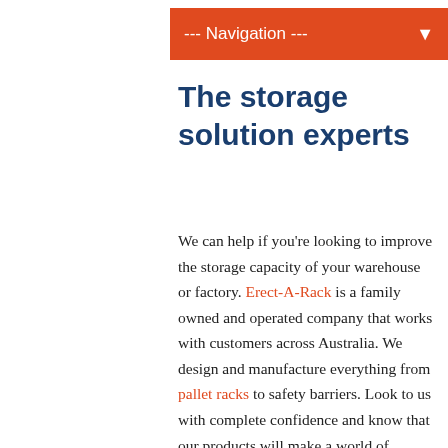--- Navigation ---
The storage solution experts
We can help if you’re looking to improve the storage capacity of your warehouse or factory. Erect-A-Rack is a family owned and operated company that works with customers across Australia. We design and manufacture everything from pallet racks to safety barriers. Look to us with complete confidence and know that our products will make a world of difference to your operation.
Got a question about what we have to offer? Give us a call on 1300 788 916 or complete an enquiry form and we’ll get back to you as soon as possible.